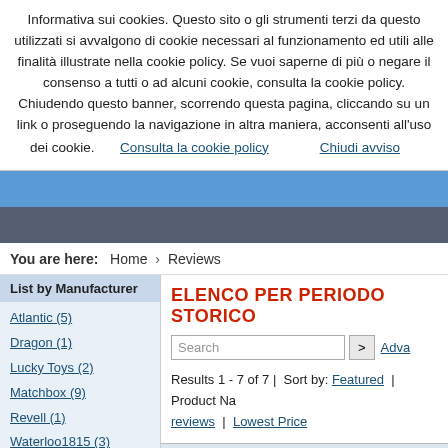Informativa sui cookies. Questo sito o gli strumenti terzi da questo utilizzati si avvalgono di cookie necessari al funzionamento ed utili alle finalità illustrate nella cookie policy. Se vuoi saperne di più o negare il consenso a tutti o ad alcuni cookie, consulta la cookie policy. Chiudendo questo banner, scorrendo questa pagina, cliccando su un link o proseguendo la navigazione in altra maniera, acconsenti all'uso dei cookie.   Consulta la cookie policy   Chiudi avviso
You are here:  Home › Reviews
List by Manufacturer
Atlantic (5)
Dragon (1)
Lucky Toys (2)
Matchbox (9)
Revell (1)
Waterloo1815 (3)
List by periods
Guerre di Indipendenza italiano (2)
ELENCO PER PERIODO STORICO
Search  >  Adva
Results 1 - 7 of 7 | Sort by: Featured | Product Na reviews | Lowest Price
| Title: |
| --- |
Aviatori d'Italia
domenica, 06 aprile 2008